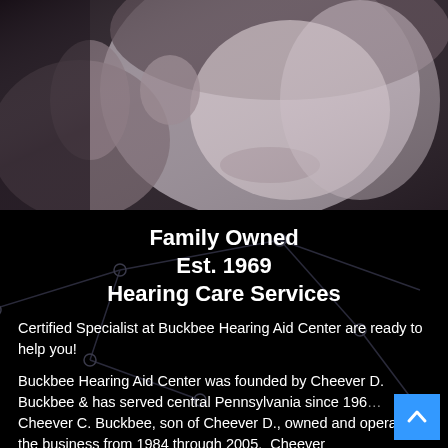[Figure (photo): Black and white photo of a woman smiling, touching her ear/hearing aid, upper portion visible]
Family Owned
Est. 1969
Hearing Care Services
Certified Specialist at Buckbee Hearing Aid Center are ready to help you!
Buckbee Hearing Aid Center was founded by Cheever D. Buckbee & has served central Pennsylvania since 196… Cheever C. Buckbee, son of Cheever D., owned and operated the business from 1984 through 2005. Cheever